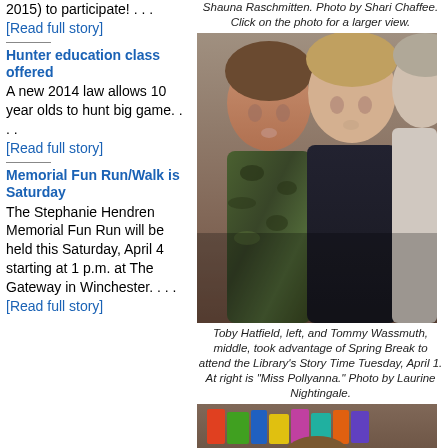2015) to participate! . . . [Read full story]
Hunter education class offered
A new 2014 law allows 10 year olds to hunt big game. . . . [Read full story]
Memorial Fun Run/Walk is Saturday
The Stephanie Hendren Memorial Fun Run will be held this Saturday, April 4 starting at 1 p.m. at The Gateway in Winchester. . . . [Read full story]
Shauna Raschmitten. Photo by Shari Chaffee. Click on the photo for a larger view.
[Figure (photo): Two young boys and an older person looking down at something together. Boy on left wears camouflage shirt, boy in middle wears dark shirt.]
Toby Hatfield, left, and Tommy Wassmuth, middle, took advantage of Spring Break to attend the Library's Story Time Tuesday, April 1. At right is "Miss Pollyanna." Photo by Laurine Nightingale.
[Figure (photo): A child looking at books, bottom portion of image visible with colorful book spines.]